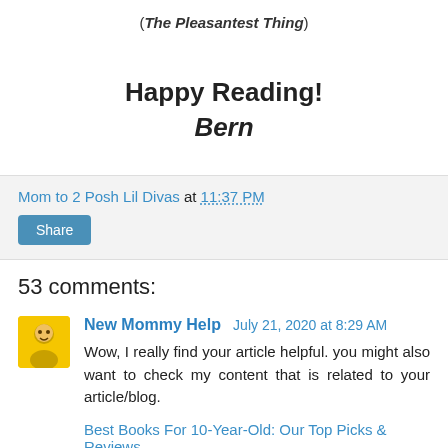(The Pleasantest Thing)
Happy Reading!
Bern
Mom to 2 Posh Lil Divas at 11:37 PM
Share
53 comments:
New Mommy Help  July 21, 2020 at 8:29 AM
Wow, I really find your article helpful. you might also want to check my content that is related to your article/blog.
Best Books For 10-Year-Old: Our Top Picks & Reviews
Best books for 9 years old: that will improve their interest in